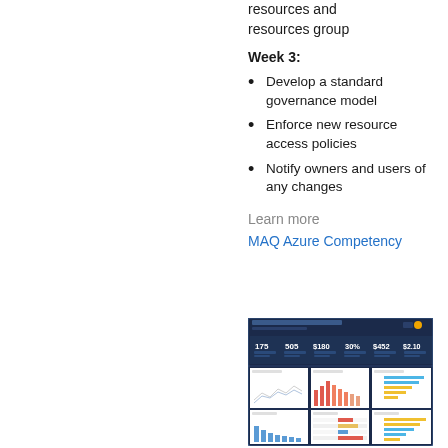resources and resources group
Week 3:
Develop a standard governance model
Enforce new resource access policies
Notify owners and users of any changes
Learn more
MAQ Azure Competency
[Figure (screenshot): Dashboard screenshot showing Cost of Azure Instance Computation with multiple KPI metrics and charts including line charts, bar charts, and horizontal bar charts in a dark blue themed interface.]